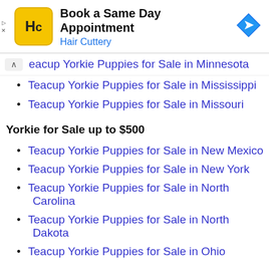[Figure (infographic): Hair Cuttery advertisement banner with yellow logo icon showing 'HC', text 'Book a Same Day Appointment' and 'Hair Cuttery', and a blue diamond navigation arrow icon on the right. Small ad controls (play and X) on the left edge.]
Teacup Yorkie Puppies for Sale in Minnesota
Teacup Yorkie Puppies for Sale in Mississippi
Teacup Yorkie Puppies for Sale in Missouri
Yorkie for Sale up to $500
Teacup Yorkie Puppies for Sale in New Mexico
Teacup Yorkie Puppies for Sale in New York
Teacup Yorkie Puppies for Sale in North Carolina
Teacup Yorkie Puppies for Sale in North Dakota
Teacup Yorkie Puppies for Sale in Ohio